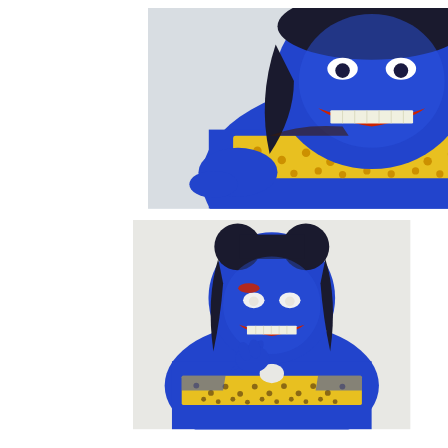[Figure (photo): A person with full-body blue body paint and a yellow polka-dot bikini top, wearing dark hair, grinning with red lips and white teeth, posed with hands forward. Photo taken from slightly above, white background.]
[Figure (photo): A person with full-body blue body paint, black hair in two buns with braids, white contact lenses, red eye makeup, red lips with gritted teeth expression, wearing a yellow polka-dot bikini top with blue overlay, posing with hand near chin. White fabric background.]